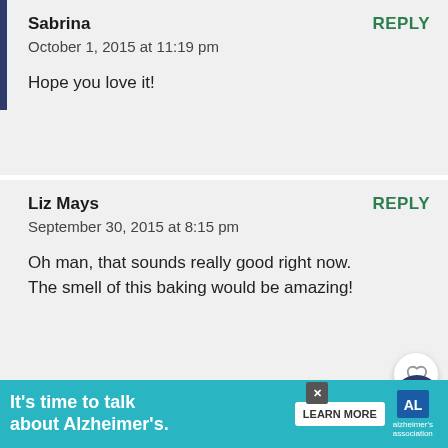Sabrina
October 1, 2015 at 11:19 pm
Hope you love it!
REPLY
Liz Mays
September 30, 2015 at 8:15 pm
Oh man, that sounds really good right now. The smell of this baking would be amazing!
REPLY
Sabrina
REPLY
It’s time to talk about Alzheimer’s.
LEARN MORE